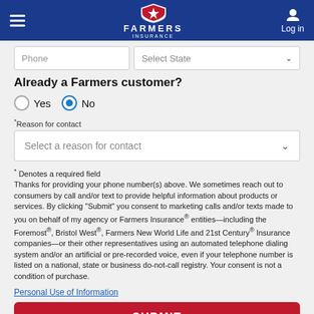Farmers Insurance — Log in
Phone | Select State
Already a Farmers customer?
Yes  No (No selected)
*Reason for contact
Select a reason for contact
* Denotes a required field
Thanks for providing your phone number(s) above. We sometimes reach out to consumers by call and/or text to provide helpful information about products or services. By clicking "Submit" you consent to marketing calls and/or texts made to you on behalf of my agency or Farmers Insurance® entities—including the Foremost®, Bristol West®, Farmers New World Life and 21st Century® Insurance companies—or their other representatives using an automated telephone dialing system and/or an artificial or pre-recorded voice, even if your telephone number is listed on a national, state or business do-not-call registry. Your consent is not a condition of purchase.
Personal Use of Information
SUBMIT